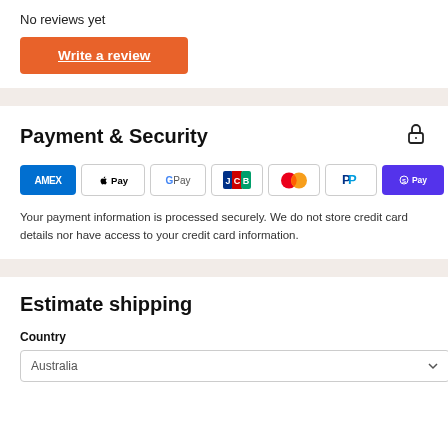No reviews yet
Write a review
Payment & Security
[Figure (other): Payment method icons: Amex, Apple Pay, Google Pay, JCB, Mastercard, PayPal, Shop Pay, Visa]
Your payment information is processed securely. We do not store credit card details nor have access to your credit card information.
Estimate shipping
Country
Australia